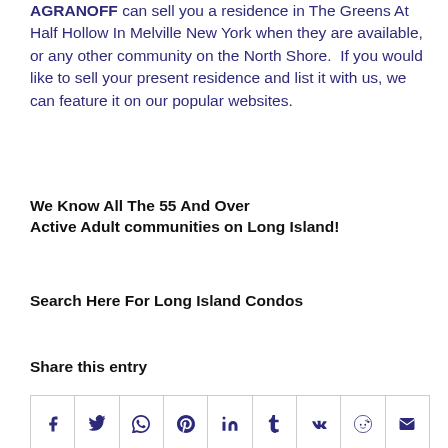AGRANOFF can sell you a residence in The Greens At Half Hollow In Melville New York when they are available, or any other community on the North Shore.  If you would like to sell your present residence and list it with us, we can feature it on our popular websites.
We Know All The 55 And Over Active Adult communities on Long Island!
Search Here For Long Island Condos
Share this entry
[Figure (other): Social sharing icons row: Facebook, Twitter, WhatsApp, Pinterest, LinkedIn, Tumblr, VK, Reddit, Email]